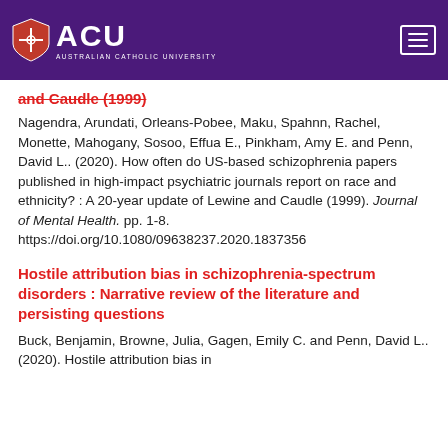ACU - Australian Catholic University
and Caudle (1999)
Nagendra, Arundati, Orleans-Pobee, Maku, Spahnn, Rachel, Monette, Mahogany, Sosoo, Effua E., Pinkham, Amy E. and Penn, David L.. (2020). How often do US-based schizophrenia papers published in high-impact psychiatric journals report on race and ethnicity? : A 20-year update of Lewine and Caudle (1999). Journal of Mental Health. pp. 1-8. https://doi.org/10.1080/09638237.2020.1837356
Hostile attribution bias in schizophrenia-spectrum disorders : Narrative review of the literature and persisting questions
Buck, Benjamin, Browne, Julia, Gagen, Emily C. and Penn, David L.. (2020). Hostile attribution bias in